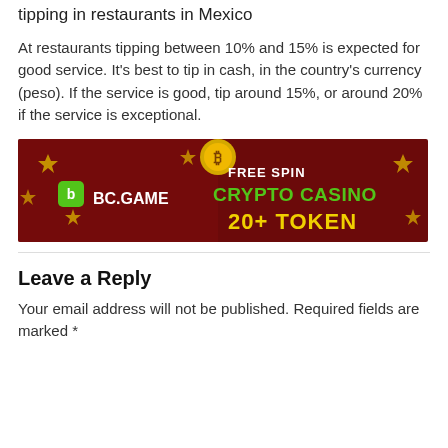tipping in restaurants in Mexico
At restaurants tipping between 10% and 15% is expected for good service. It's best to tip in cash, in the country's currency (peso). If the service is good, tip around 15%, or around 20% if the service is exceptional.
[Figure (photo): BC.GAME advertisement banner: dark red background with golden diamond shapes, a green Bitcoin icon, and text reading 'FREE SPIN CRYPTO CASINO 20+ TOKEN' in green and yellow letters. BC.GAME logo in white on the left.]
Leave a Reply
Your email address will not be published. Required fields are marked *